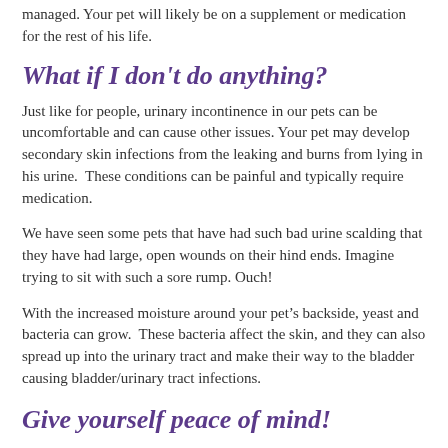managed. Your pet will likely be on a supplement or medication for the rest of his life.
What if I don't do anything?
Just like for people, urinary incontinence in our pets can be uncomfortable and can cause other issues. Your pet may develop secondary skin infections from the leaking and burns from lying in his urine.  These conditions can be painful and typically require medication.
We have seen some pets that have had such bad urine scalding that they have had large, open wounds on their hind ends. Imagine trying to sit with such a sore rump. Ouch!
With the increased moisture around your pet's backside, yeast and bacteria can grow.  These bacteria affect the skin, and they can also spread up into the urinary tract and make their way to the bladder causing bladder/urinary tract infections.
Give yourself peace of mind!